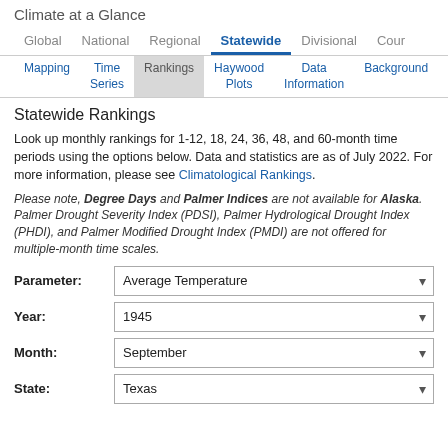Climate at a Glance
Statewide Rankings
Look up monthly rankings for 1-12, 18, 24, 36, 48, and 60-month time periods using the options below. Data and statistics are as of July 2022. For more information, please see Climatological Rankings.
Please note, Degree Days and Palmer Indices are not available for Alaska. Palmer Drought Severity Index (PDSI), Palmer Hydrological Drought Index (PHDI), and Palmer Modified Drought Index (PMDI) are not offered for multiple-month time scales.
Parameter: Average Temperature
Year: 1945
Month: September
State: Texas